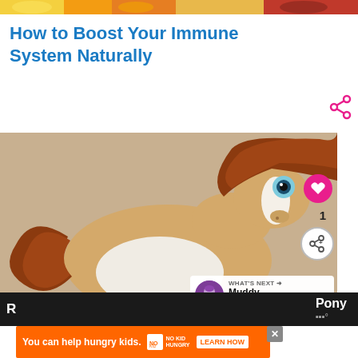[Figure (photo): Colorful fruit image strip at the top of the page (lemon, orange, red fruits)]
How to Boost Your Immune System Naturally
[Figure (photo): Close-up photo of a stuffed toy pony with brown/tan fur, white markings, blue eyes, and a brown mane. Overlays include a pink heart/like button, a share button, a like count of 1, and a 'What's Next' panel showing a thumbnail and text 'Muddy Puddles'.]
[Figure (photo): Bottom dark strip with partial text visible, and an orange advertisement banner reading 'You can help hungry kids.' with No Kid Hungry logo and 'LEARN HOW' button.]